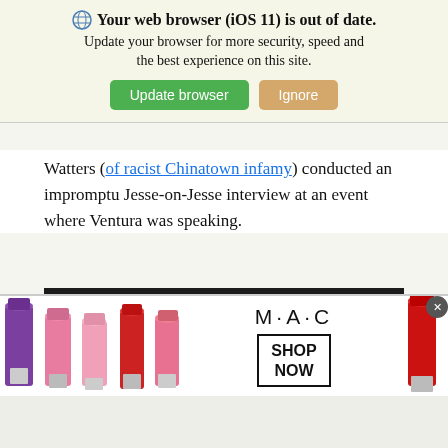[Figure (screenshot): Browser update notification banner with globe icon, bold title 'Your web browser (iOS 11) is out of date.', subtitle text, and two buttons: green 'Update browser' and tan 'Ignore']
Watters (of racist Chinatown infamy) conducted an impromptu Jesse-on-Jesse interview at an event where Ventura was speaking.
[Figure (screenshot): YouTube video embed showing 'Video unavailable' error message: 'This video is no longer available because the YouTube account associated with this video has been terminated.']
[Figure (screenshot): MAC Cosmetics advertisement showing lipsticks and 'SHOP NOW' box with M·A·C logo]